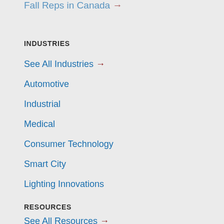Fall Reps in Canada →
INDUSTRIES
See All Industries →
Automotive
Industrial
Medical
Consumer Technology
Smart City
Lighting Innovations
RESOURCES
See All Resources →